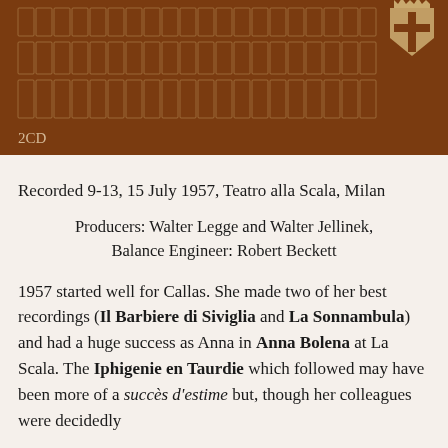[Figure (illustration): Brown/tan album cover image with architectural line drawing pattern (building facade) in gold/yellow on a dark brown background, with a heraldic shield/crest in the upper right corner, and '2CD' text in the lower left.]
Recorded 9-13, 15 July 1957, Teatro alla Scala, Milan
Producers: Walter Legge and Walter Jellinek, Balance Engineer: Robert Beckett
1957 started well for Callas. She made two of her best recordings (Il Barbiere di Siviglia and La Sonnambula) and had a huge success as Anna in Anna Bolena at La Scala. The Iphigenie en Taurdie which followed may have been more of a succès d'estime but, though her colleagues were decidedly